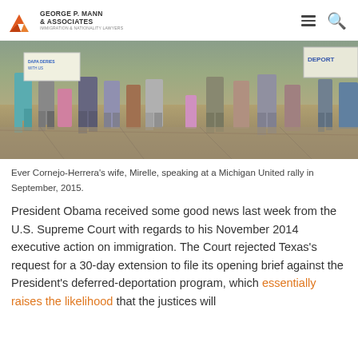GEORGE P. MANN & ASSOCIATES | IMMIGRATION & NATIONALITY LAWYERS
[Figure (photo): Protest rally photo showing people standing holding signs, including one reading 'DEPORT', taken at a Michigan United rally in September 2015]
Ever Cornejo-Herrera's wife, Mirelle, speaking at a Michigan United rally in September, 2015.
President Obama received some good news last week from the U.S. Supreme Court with regards to his November 2014 executive action on immigration. The Court rejected Texas's request for a 30-day extension to file its opening brief against the President's deferred-deportation program, which essentially raises the likelihood that the justices will